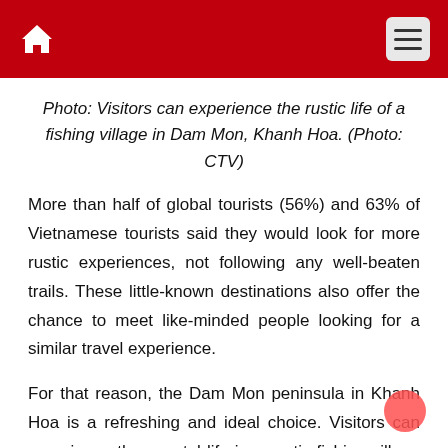Photo: Visitors can experience the rustic life of a fishing village in Dam Mon, Khanh Hoa. (Photo: CTV)
More than half of global tourists (56%) and 63% of Vietnamese tourists said they would look for more rustic experiences, not following any well-beaten trails. These little-known destinations also offer the chance to meet like-minded people looking for a similar travel experience.
For that reason, the Dam Mon peninsula in Khanh Hoa is a refreshing and ideal choice. Visitors can experience the coastal life in a rustic fishing village in Dam Mon through activities such as fishing or enjoying a beautiful sunrise